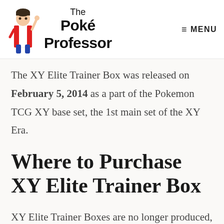The Poké Professor
The XY Elite Trainer Box was released on February 5, 2014 as a part of the Pokemon TCG XY base set, the 1st main set of the XY Era.
Where to Purchase XY Elite Trainer Box
XY Elite Trainer Boxes are no longer produced, so the only way to buy one is on the secondary market through sites like eBay, TCGPlayer,